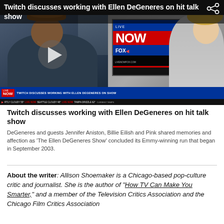[Figure (screenshot): Video thumbnail of a news segment on Live Now Fox showing Twitch discussing working with Ellen DeGeneres on her hit talk show. Left side shows a man with a hat in a home video call setup. Right side shows a female news anchor. A Live Now Fox screen graphic is visible. Bottom news bar reads: TWITCH DISCUSSES WORKING WITH ELLEN DEGENERES ON SHOW. Weather ticker at bottom.]
Twitch discusses working with Ellen DeGeneres on hit talk show
DeGeneres and guests Jennifer Aniston, Billie Eilish and Pink shared memories and affection as 'The Ellen DeGeneres Show' concluded its Emmy-winning run that began in September 2003.
About the writer: Allison Shoemaker is a Chicago-based pop-culture critic and journalist. She is the author of "How TV Can Make You Smarter," and a member of the Television Critics Association and the Chicago Film Critics Association